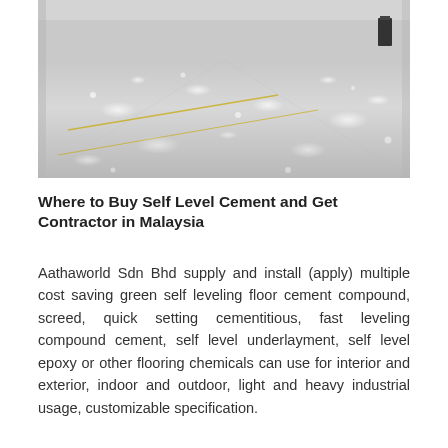[Figure (photo): Interior photo of a large industrial or commercial space with a shiny polished concrete self-leveling cement floor. The floor has a glossy reflective surface with light reflections scattered across it. Yellow lines are visible on the floor. The space appears to be a warehouse or large hall with walls and columns visible in the background.]
Where to Buy Self Level Cement and Get Contractor in Malaysia
Aathaworld Sdn Bhd supply and install (apply) multiple cost saving green self leveling floor cement compound, screed, quick setting cementitious, fast leveling compound cement, self level underlayment, self level epoxy or other flooring chemicals can use for interior and exterior, indoor and outdoor, light and heavy industrial usage, customizable specification.